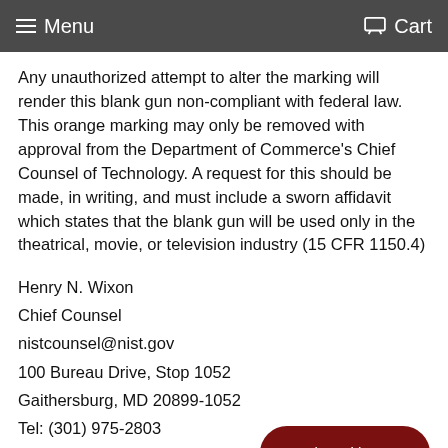Menu  Cart
Any unauthorized attempt to alter the marking will render this blank gun non-compliant with federal law. This orange marking may only be removed with approval from the Department of Commerce's Chief Counsel of Technology. A request for this should be made, in writing, and must include a sworn affidavit which states that the blank gun will be used only in the theatrical, movie, or television industry (15 CFR 1150.4)
Henry N. Wixon
Chief Counsel
nistcounsel@nist.gov
100 Bureau Drive, Stop 1052
Gaithersburg, MD 20899-1052
Tel: (301) 975-2803
Fax: (301) 926-6241